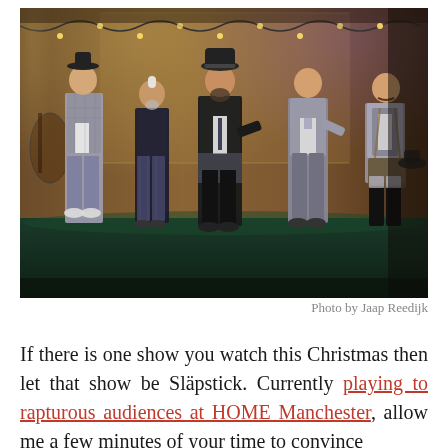[Figure (photo): Five men in theatrical costumes standing on a dimly lit stage with a rustic, vintage-style backdrop featuring string lights, old instruments, and decorative painted walls. The performers wear eclectic period-inspired outfits including suits, hats, and suspenders.]
Photo by Jaap Reedijk
If there is one show you watch this Christmas then let that show be Släpstick. Currently playing to rapturous audiences at HOME Manchester, allow me a few minutes of your time to convince